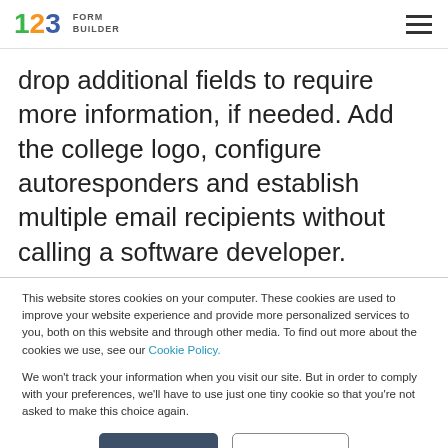123 FORM BUILDER
drop additional fields to require more information, if needed. Add the college logo, configure autoresponders and establish multiple email recipients without calling a software developer.
This website stores cookies on your computer. These cookies are used to improve your website experience and provide more personalized services to you, both on this website and through other media. To find out more about the cookies we use, see our Cookie Policy.

We won't track your information when you visit our site. But in order to comply with your preferences, we'll have to use just one tiny cookie so that you're not asked to make this choice again.
Accept | Decline